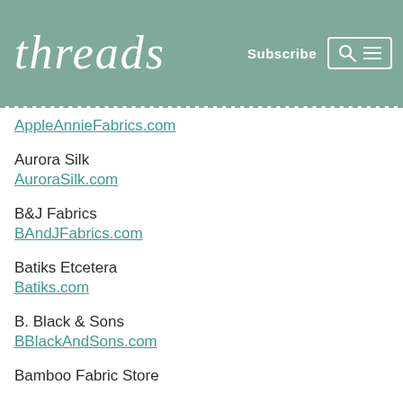threads — Subscribe
AppleAnnieFabrics.com
Aurora Silk
AuroraSilk.com
B&J Fabrics
BAndJFabrics.com
Batiks Etcetera
Batiks.com
B. Black & Sons
BBlackAndSons.com
Bamboo Fabric Store